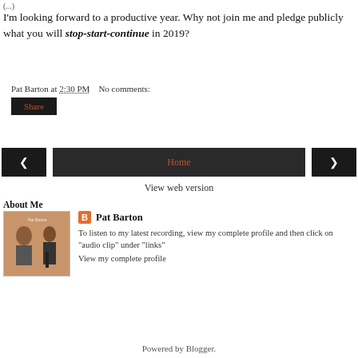(...)
I'm looking forward to a productive year. Why not join me and pledge publicly what you will stop-start-continue in 2019?
Pat Barton at 2:30 PM   No comments:
Share
< Home >
View web version
About Me
[Figure (photo): Profile photo of Pat Barton - album cover style image showing musicians with brown/tan background]
Pat Barton
To listen to my latest recording, view my complete profile and then click on "audio clip" under "links"
View my complete profile
Powered by Blogger.